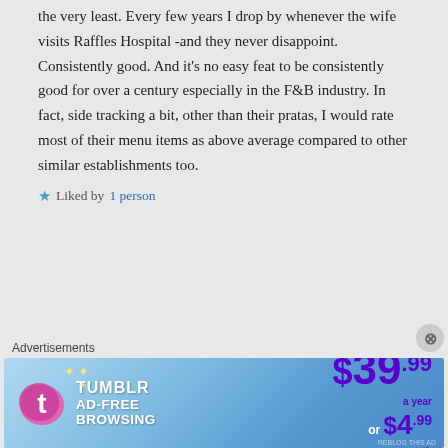the very least. Every few years I drop by whenever the wife visits Raffles Hospital -and they never disappoint. Consistently good. And it's no easy feat to be consistently good for over a century especially in the F&B industry. In fact, side tracking a bit, other than their pratas, I would rate most of their menu items as above average compared to other similar establishments too.
★ Liked by 1 person
Advertisements
[Figure (other): Tumblr Ad-Free Browsing advertisement banner showing $39.99 a year or $4.99 a month pricing]